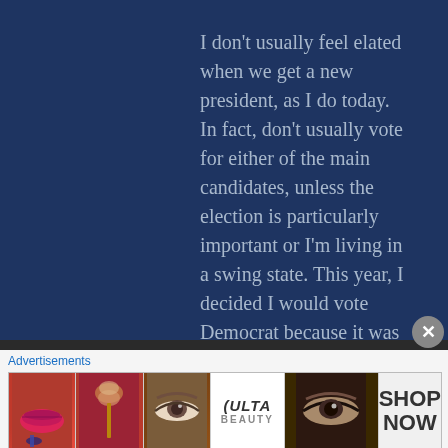I don't usually feel elated when we get a new president, as I do today. In fact, don't usually vote for either of the main candidates, unless the election is particularly important or I'm living in a swing state. This year, I decided I would vote Democrat because it was important to me that Trump left office. I think he's been a terrible leader and a wretched example of Americans to the rest of the world. I've been horrified to watch the hatred and violence from afar.
Advertisements
[Figure (photo): Ulta Beauty advertisement banner showing makeup product imagery including lips, makeup brush, eye with brow, Ulta Beauty logo, dramatic eye makeup, and SHOP NOW text]